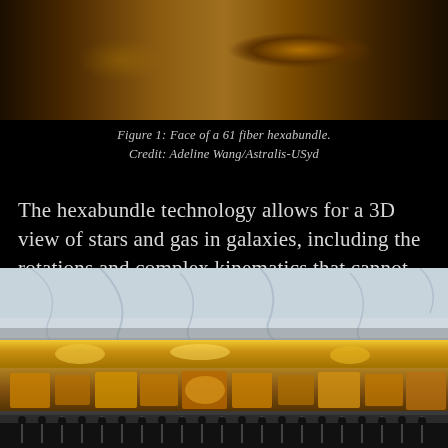[Figure (photo): Close-up photo of a 61 fiber hexabundle face showing circular fiber arrangement]
Figure 1: Face of a 61 fiber hexabundle.
Credit: Adeline Wang/Astralis-USyd
The hexabundle technology allows for a 3D view of stars and gas in galaxies, including the rotations and complex kinematics that cannot be seen by single-fibre galaxy surveys.
[Figure (photo): Side-on close-up photo of a hexabundle showing amber/yellow fibres bundled together with black pins/ferrules at the bottom]